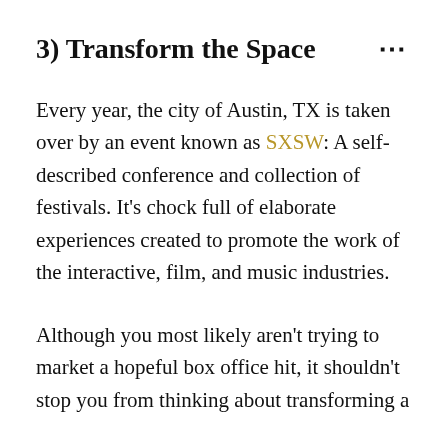3) Transform the Space
Every year, the city of Austin, TX is taken over by an event known as SXSW: A self-described conference and collection of festivals. It’s chock full of elaborate experiences created to promote the work of the interactive, film, and music industries.
Although you most likely aren’t trying to market a hopeful box office hit, it shouldn’t stop you from thinking about transforming a